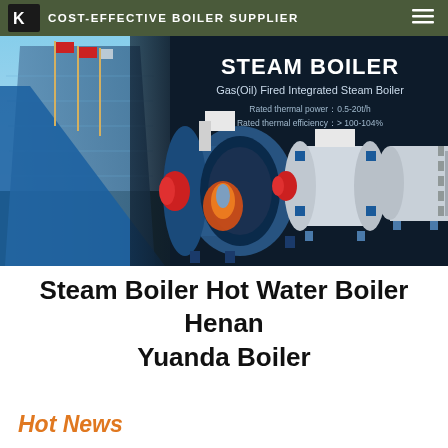COST-EFFECTIVE BOILER SUPPLIER
[Figure (photo): Hero banner showing industrial boiler products: steam boilers (white and blue cylindrical units) against a dark background, with a building exterior and flags visible on the left side. Text overlay reads: STEAM BOILER, Gas(Oil) Fired Integrated Steam Boiler, Rated thermal power: 0.5-20t/h, Rated thermal efficiency: > 100-104%]
Steam Boiler Hot Water Boiler Henan Yuanda Boiler
Hot News